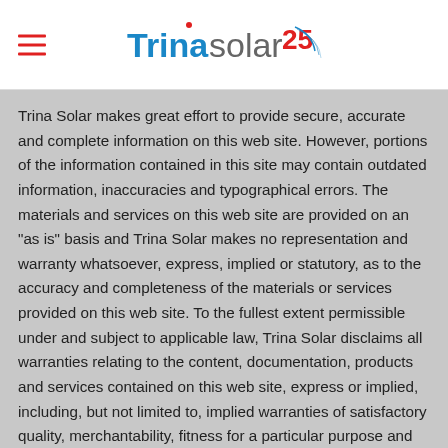Trina Solar 25 [logo]
Trina Solar makes great effort to provide secure, accurate and complete information on this web site. However, portions of the information contained in this site may contain outdated information, inaccuracies and typographical errors. The materials and services on this web site are provided on an "as is" basis and Trina Solar makes no representation and warranty whatsoever, express, implied or statutory, as to the accuracy and completeness of the materials or services provided on this web site. To the fullest extent permissible under and subject to applicable law, Trina Solar disclaims all warranties relating to the content, documentation, products and services contained on this web site, express or implied, including, but not limited to, implied warranties of satisfactory quality, merchantability, fitness for a particular purpose and non-infringement. Trina Solar, its officers, employees or agents shall not be liable for damages or losses of any kind arising out of or in connection with the use or performance of information,